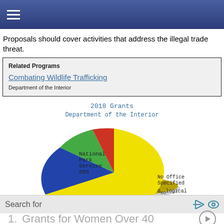≡
Proposals should cover activities that address the illegal trade threat.
| Related Programs |
| --- |
| Combating Wildlife Trafficking |
| Department of the Interior |
[Figure (pie-chart): Pie chart showing 2018 Grants for Department of the Interior. National Park Service 66% (yellow, large slice), blue slice, green slice, red slice, with labels No Office Specified and Geological 2%.]